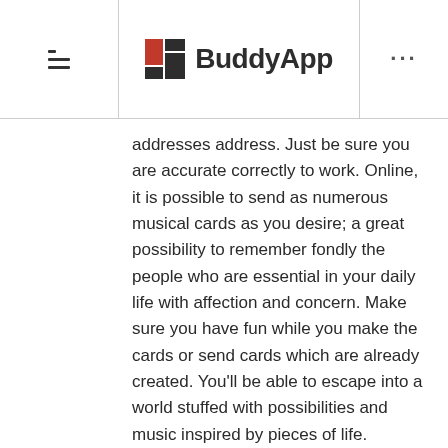BuddyApp
addresses address. Just be sure you are accurate correctly to work. Online, it is possible to send as numerous musical cards as you desire; a great possibility to remember fondly the people who are essential in your daily life with affection and concern. Make sure you have fun while you make the cards or send cards which are already created. You'll be able to escape into a world stuffed with possibilities and music inspired by pieces of life. More info about browse browse this popular web portal